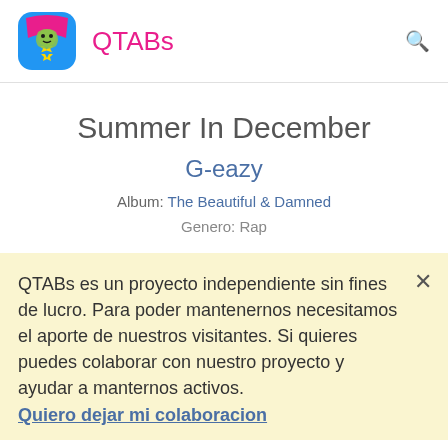QTABs
Summer In December
G-eazy
Album: The Beautiful & Damned
Genero: Rap
QTABs es un proyecto independiente sin fines de lucro. Para poder mantenernos necesitamos el aporte de nuestros visitantes. Si quieres puedes colaborar con nuestro proyecto y ayudar a manternos activos. Quiero dejar mi colaboracion